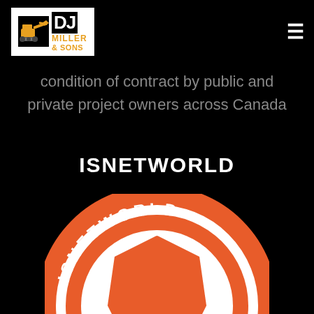DJ Miller & Sons
condition of contract by public and private project owners across Canada
ISNETWORLD
[Figure (logo): ISNetworld circular orange and white logo badge with 'ISNETWORLD' text around the top arc and a hexagonal shield emblem in the center]